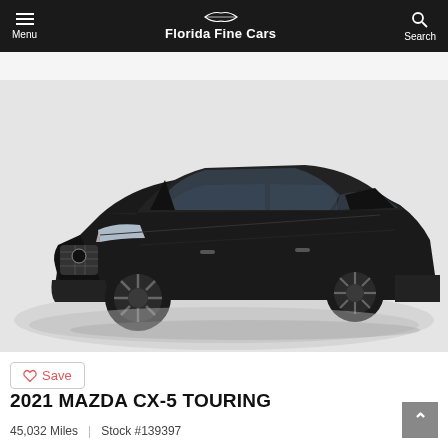Menu | Florida Fine Cars | Search
[Figure (photo): Black 2021 Mazda CX-5 Touring SUV photographed from front-left angle in a showroom with gray flooring and white background]
Save
2021 MAZDA CX-5 TOURING
45,032 Miles | Stock #139397